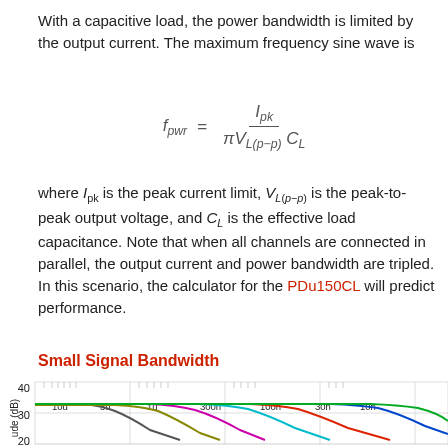With a capacitive load, the power bandwidth is limited by the output current. The maximum frequency sine wave is
where I_pk is the peak current limit, V_L(p-p) is the peak-to-peak output voltage, and C_L is the effective load capacitance. Note that when all channels are connected in parallel, the output current and power bandwidth are tripled. In this scenario, the calculator for the PDu150CL will predict performance.
Small Signal Bandwidth
[Figure (continuous-plot): Small Signal Bandwidth frequency response chart showing amplitude (dB) on y-axis from 20 to 40 dB, with multiple colored curves labeled 10u, 3u, 1u, 300n, 100n, 30n, 10n representing different capacitive loads]